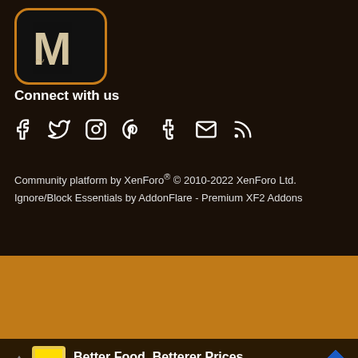[Figure (logo): App logo with stylized M letter on dark background, gold/orange rounded square border]
Connect with us
[Figure (infographic): Social media icons: Facebook, Twitter, Instagram, Pinterest, Tumblr, Email, RSS feed]
Community platform by XenForo® © 2010-2022 XenForo Ltd.
Ignore/Block Essentials by AddonFlare - Premium XF2 Addons
This site uses cookies to help personalise content, tailor your experience and to keep you logged in if you register.
By continuing to use this site, you are consenting to our use of cookies.
✓ Accept   Learn more...
[Figure (advertisement): Lidl advertisement: Better Food. Betterer Prices with Lidl logo and diamond icon]